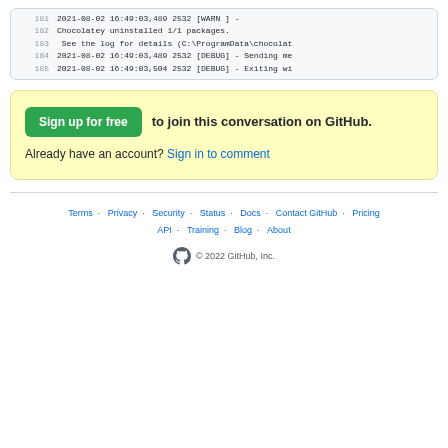[Figure (screenshot): Code block showing log lines 181-185 with timestamps and debug/warn messages]
Sign up for free to join this conversation on GitHub. Already have an account? Sign in to comment
Terms · Privacy · Security · Status · Docs · Contact GitHub · Pricing · API · Training · Blog · About · © 2022 GitHub, Inc.